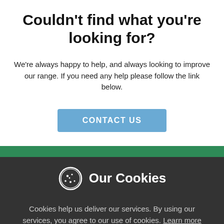Couldn't find what you're looking for?
We're always happy to help, and always looking to improve our range. If you need any help please follow the link below.
CONTACT US
Our Cookies
Cookies help us deliver our services. By using our services, you agree to our use of cookies. Learn more
Settings
AGREE
Decline